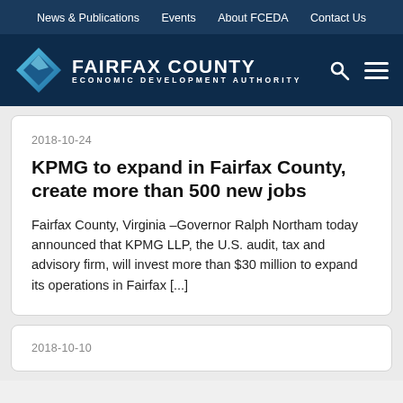News & Publications   Events   About FCEDA   Contact Us
[Figure (logo): Fairfax County Economic Development Authority logo with blue diamond graphic and white text]
2018-10-24
KPMG to expand in Fairfax County, create more than 500 new jobs
Fairfax County, Virginia –Governor Ralph Northam today announced that KPMG LLP, the U.S. audit, tax and advisory firm, will invest more than $30 million to expand its operations in Fairfax [...]
2018-10-10